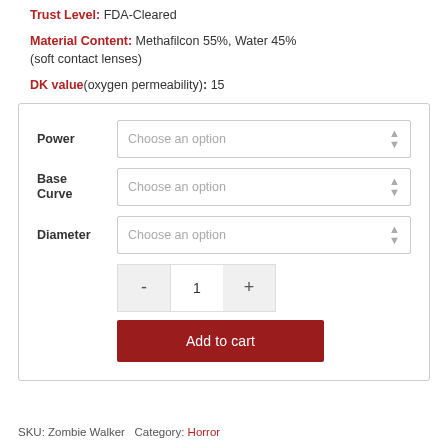Trust Level: FDA-Cleared
Material Content: Methafilcon 55%, Water 45% (soft contact lenses)
DK value(oxygen permeability): 15
[Figure (screenshot): Product options form with Power, Base Curve, and Diameter dropdown selectors each showing 'Choose an option', a quantity selector showing 1 with minus and plus buttons, and an Add to cart button]
SKU: Zombie Walker  Category: Horror